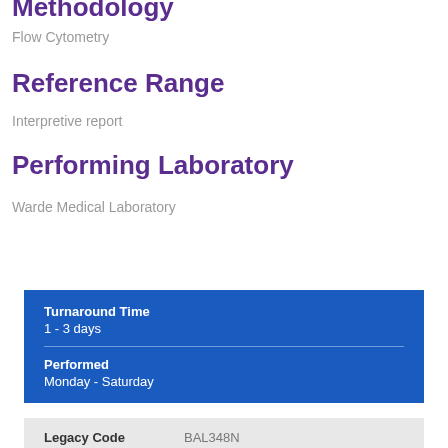Methodology
Flow Cytometry
Reference Range
Interpretive report
Performing Laboratory
Warde Medical Laboratory
Turnaround Time
1 - 3 days
Performed
Monday - Saturday
| Legacy Code |  |
| --- | --- |
| Legacy Code | BAL348N |